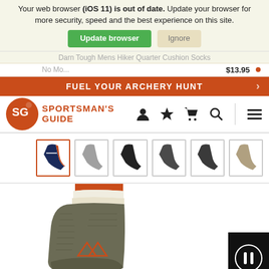Your web browser (iOS 11) is out of date. Update your browser for more security, speed and the best experience on this site.
Update browser | Ignore
Darn Tough Mens Hiker Quarter Cushion Socks
FUEL YOUR ARCHERY HUNT
[Figure (logo): Sportsman's Guide logo with SG orange circle icon and text]
[Figure (photo): Thumbnail strip showing 6 sock product images in different colors, first one selected with orange border]
[Figure (photo): Main product image of Darn Tough hiking sock in olive/grey with orange stripe at top and mountain logo]